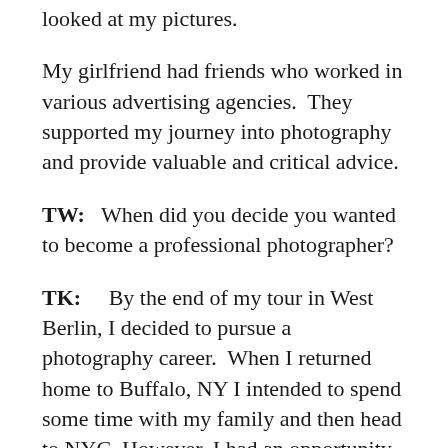looked at my pictures.
My girlfriend had friends who worked in various advertising agencies.  They supported my journey into photography and provide valuable and critical advice.
TW:   When did you decide you wanted to become a professional photographer?
TK:    By the end of my tour in West Berlin, I decided to pursue a photography career.  When I returned home to Buffalo, NY I intended to spend some time with my family and then head to NYC. However, I had an opportunity to work at an incredible studio, Greenburgh-May Productions.